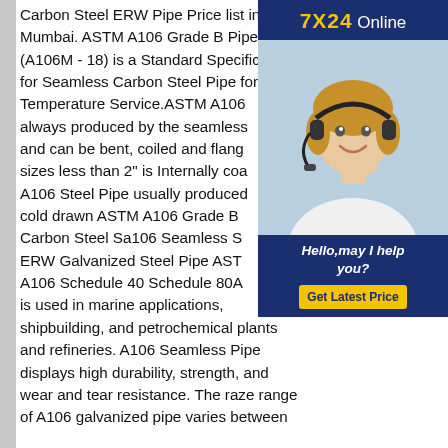Carbon Steel ERW Pipe Price list in Mumbai. ASTM A106 Grade B Pipe (A106M - 18) is a Standard Specification for Seamless Carbon Steel Pipe for High-Temperature Service.ASTM A106 always produced by the seamless and can be bent, coiled and flang sizes less than 2" is Internally coa A106 Steel Pipe usually produced cold drawn ASTM A106 Grade B Carbon Steel Sa106 Seamless S ERW Galvanized Steel Pipe AST A106 Schedule 40 Schedule 80A is used in marine applications, shipbuilding, and petrochemical plants and refineries. A106 Seamless Pipe displays high durability, strength, and wear and tear resistance. The raze range of A106 galvanized pipe varies between
[Figure (photo): Advertisement banner with '7X24 Online' header in dark blue background with yellow and white text, a photo of a woman wearing a headset (customer service representative), and a 'Get Latest Price' yellow button with 'Hello, may I help you?' text in white italic.]